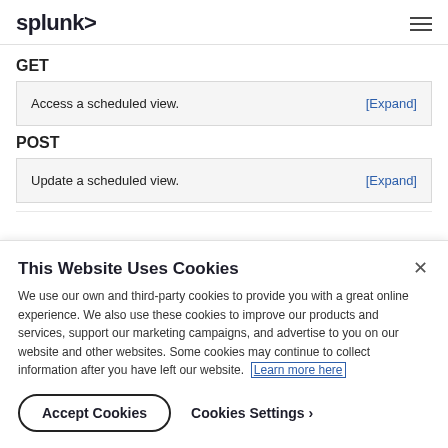splunk>
GET
Access a scheduled view.  [Expand]
POST
Update a scheduled view.  [Expand]
This Website Uses Cookies
We use our own and third-party cookies to provide you with a great online experience. We also use these cookies to improve our products and services, support our marketing campaigns, and advertise to you on our website and other websites. Some cookies may continue to collect information after you have left our website. Learn more here
Accept Cookies   Cookies Settings ›